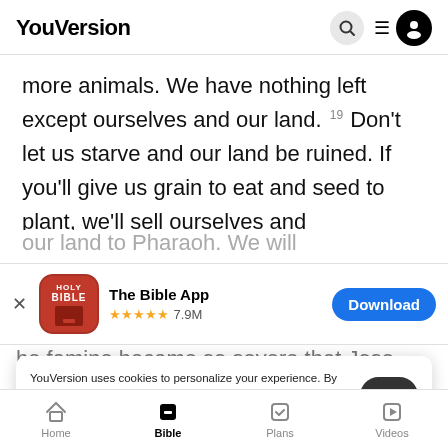YouVersion
more animals. We have nothing left except ourselves and our land. 19 Don't let us starve and our land be ruined. If you'll give us grain to eat and seed to plant, we'll sell ourselves and
[Figure (screenshot): App store banner for The Bible App showing red Holy Bible icon, 5-star rating with 7.9M reviews, and a blue Download button]
he famine became so severe that Jose
finally b
king 21
YouVersion uses cookies to personalize your experience. By using our website, you accept our use of cookies as described in our Privacy Policy.
Home | Bible | Plans | Videos